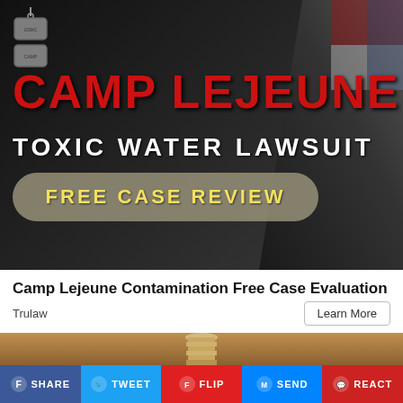[Figure (photo): Camp Lejeune Toxic Water Lawsuit advertisement banner with military soldier silhouette, dog tags, and bold red text on dark background with a 'FREE CASE REVIEW' button]
Camp Lejeune Contamination Free Case Evaluation
Trulaw
Learn More
[Figure (photo): Partial image of a metallic screw or bolt on a brown/tan background, partially cropped at bottom of page]
SHARE   TWEET   FLIP   SEND   REACT